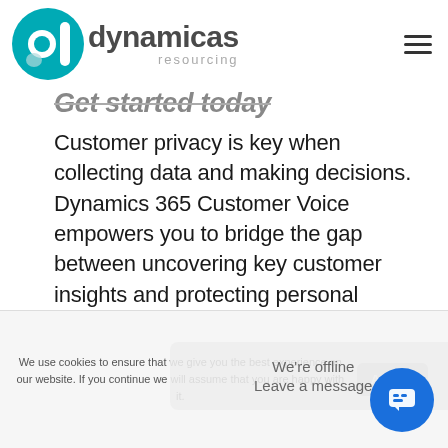[Figure (logo): Dynamicas Resourcing logo with teal 'd' icon and company name]
Get started today
Customer privacy is key when collecting data and making decisions. Dynamics 365 Customer Voice empowers you to bridge the gap between uncovering key customer insights and protecting personal information, allowing you to build meaningful relationships for long-term success. With unified customer profiles linked across
We use cookies to ensure that we give you the best experience on our website. If you continue we will assume that you are happy with it.